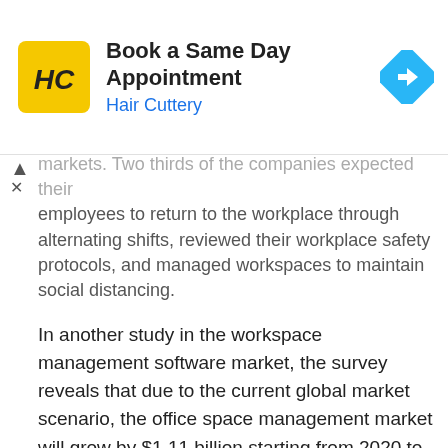[Figure (other): Advertisement banner for Hair Cuttery: 'Book a Same Day Appointment' with HC logo and blue arrow navigation icon]
markets. Two thirds of the companies expected their employees to return to the workplace through alternating shifts, reviewed their workplace safety protocols, and managed workspaces to maintain social distancing.
In another study in the workspace management software market, the survey reveals that due to the current global market scenario, the office space management market will grow by $1.11 billion starting from 2020 to 2024, progressing at a compound annual growth rate of thirteen percent (13%) during the same forecast period. The expected market growth results from the rising need for optimized space planning, integrating the Internet of Things (IoT) technology, and increasing coworking